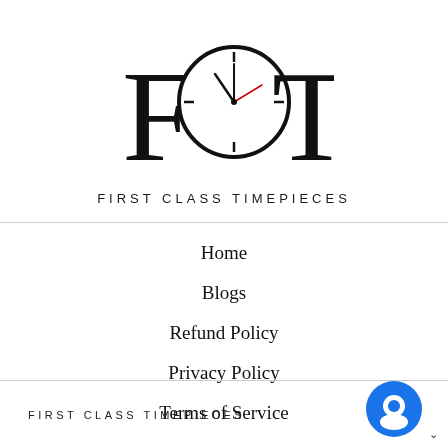[Figure (logo): FCT First Class Timepieces logo with a clock integrated into the letter C]
Home
Blogs
Refund Policy
Privacy Policy
Terms of Service
FIRST CLASS TIMEPIECES